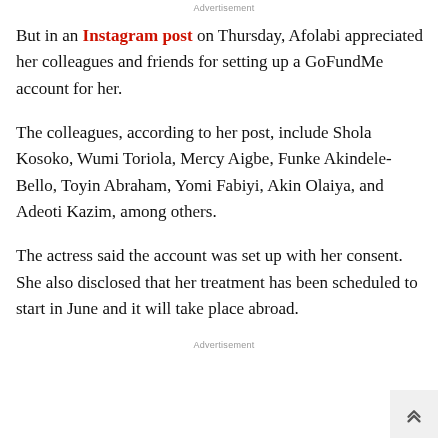Advertisement
But in an Instagram post on Thursday, Afolabi appreciated her colleagues and friends for setting up a GoFundMe account for her.
The colleagues, according to her post, include Shola Kosoko, Wumi Toriola, Mercy Aigbe, Funke Akindele-Bello, Toyin Abraham, Yomi Fabiyi, Akin Olaiya, and Adeoti Kazim, among others.
The actress said the account was set up with her consent. She also disclosed that her treatment has been scheduled to start in June and it will take place abroad.
Advertisement